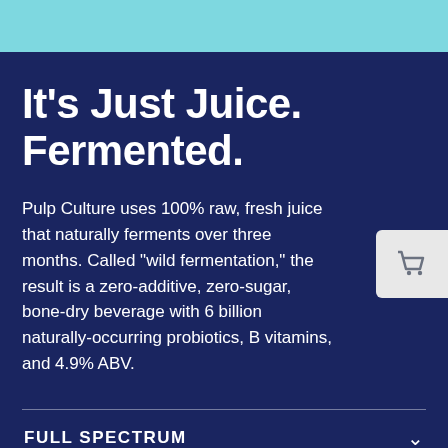It’s Just Juice. Fermented.
Pulp Culture uses 100% raw, fresh juice that naturally ferments over three months. Called “wild fermentation,” the result is a zero-additive, zero-sugar, bone-dry beverage with 6 billion naturally-occurring probiotics, B vitamins, and 4.9% ABV.
FULL SPECTRUM